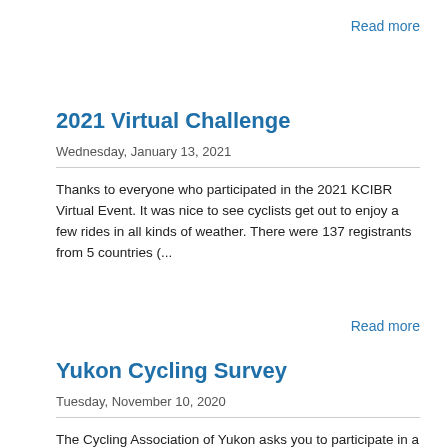Read more
2021 Virtual Challenge
Wednesday, January 13, 2021
Thanks to everyone who participated in the 2021 KCIBR Virtual Event. It was nice to see cyclists get out to enjoy a few rides in all kinds of weather. There were 137 registrants from 5 countries (...
Read more
Yukon Cycling Survey
Tuesday, November 10, 2020
The Cycling Association of Yukon asks you to participate in a survey to gain perspective on what's working, what's not working and what could be improved about cycling in Yukon.